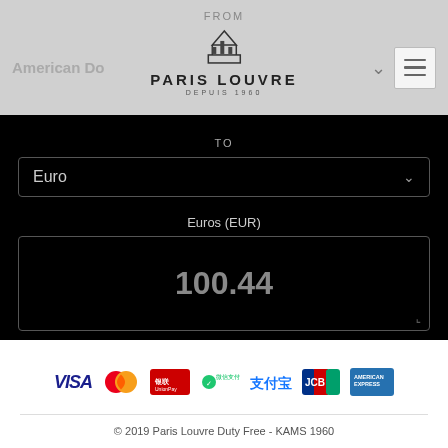FROM
[Figure (logo): Paris Louvre Depuis 1960 logo with stylized crown/building emblem]
TO
Euro
Euros (EUR)
100.44
Rates on 2 Sep 2022
[Figure (infographic): Payment method logos: VISA, MasterCard, UnionPay, WeChat Pay, Alipay, JCB, American Express]
© 2019 Paris Louvre Duty Free - KAMS 1960